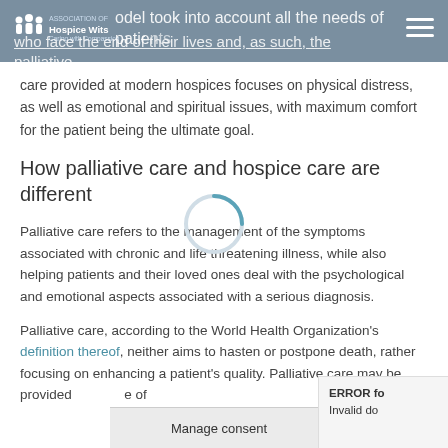Hospice Wits — [model took into account all the needs of patients who face the end of their lives and, as such, the palliative]
care provided at modern hospices focuses on physical distress, as well as emotional and spiritual issues, with maximum comfort for the patient being the ultimate goal.
How palliative care and hospice care are different
Palliative care refers to the management of the symptoms associated with chronic and life threatening illness, while also helping patients and their loved ones deal with the psychological and emotional aspects associated with a serious diagnosis.
Palliative care, according to the World Health Organization's definition thereof, neither aims to hasten or postpone death, rather focusing on enhancing a patient's quality. Palliative care may be provided [e of illness and focuses on]